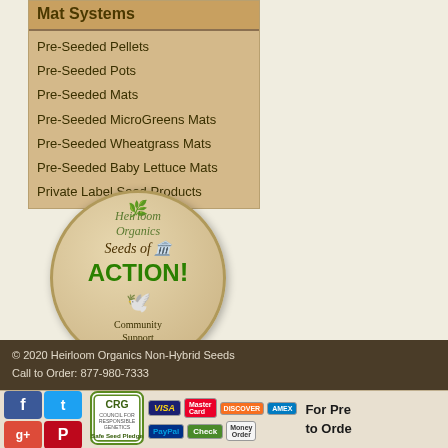Pre-Seeded Pellets
Pre-Seeded Pots
Pre-Seeded Mats
Pre-Seeded MicroGreens Mats
Pre-Seeded Wheatgrass Mats
Pre-Seeded Baby Lettuce Mats
Private Label Seed Products
[Figure (logo): Heirloom Organics Seeds of ACTION! Community Support Program circular badge/logo]
© 2020 Heirloom Organics Non-Hybrid Seeds
Call to Order: 877-980-7333
[Figure (infographic): Bottom strip with social media icons (Facebook, Twitter, Google+, Pinterest), CRG Council for Responsible Genetics Safe Seed Pledge badge, payment method icons (VISA, MasterCard, DISCOVER, AMEX, PayPal, Check, Money Order), and partial text 'For Pre... to Orde...']